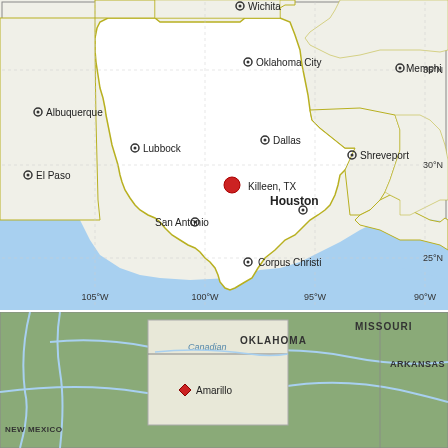[Figure (map): Regional map showing Texas and surrounding states with cities labeled including Killeen TX (highlighted with red dot), Dallas, Houston (bold), San Antonio, El Paso, Lubbock, Albuquerque, Oklahoma City, Wichita, Memphis, Shreveport, Corpus Christi. Blue water area shown along Gulf Coast. Latitude/longitude grid labels along edges (35°N, 30°N, 25°N, 105°W, 100°W, 95°W, 90°W).]
[Figure (map): Smaller inset map showing Texas Panhandle region with Amarillo marked with red diamond, Canadian river labeled, surrounding states Missouri, Oklahoma, Arkansas, New Mexico visible.]